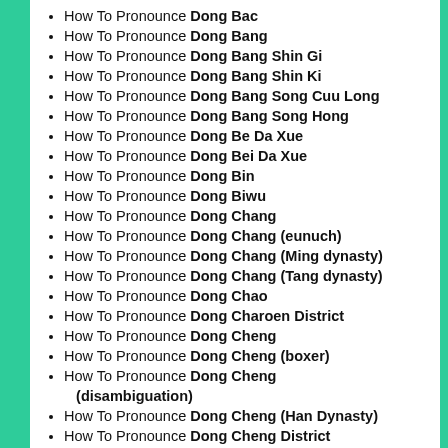How To Pronounce Dong Bac
How To Pronounce Dong Bang
How To Pronounce Dong Bang Shin Gi
How To Pronounce Dong Bang Shin Ki
How To Pronounce Dong Bang Song Cuu Long
How To Pronounce Dong Bang Song Hong
How To Pronounce Dong Be Da Xue
How To Pronounce Dong Bei Da Xue
How To Pronounce Dong Bin
How To Pronounce Dong Biwu
How To Pronounce Dong Chang
How To Pronounce Dong Chang (eunuch)
How To Pronounce Dong Chang (Ming dynasty)
How To Pronounce Dong Chang (Tang dynasty)
How To Pronounce Dong Chao
How To Pronounce Dong Charoen District
How To Pronounce Dong Cheng
How To Pronounce Dong Cheng (boxer)
How To Pronounce Dong Cheng (disambiguation)
How To Pronounce Dong Cheng (Han Dynasty)
How To Pronounce Dong Cheng District
How To Pronounce Dong Cheng District, Beijing